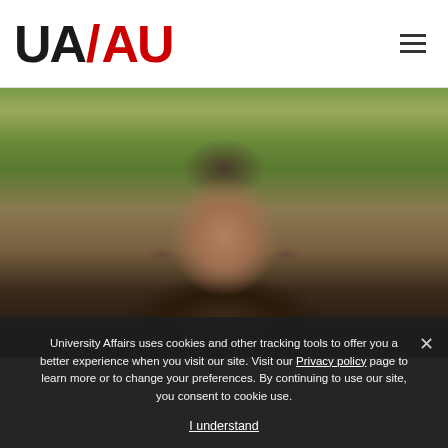[Figure (logo): UA/AU University Affairs logo in black and red]
[Figure (photo): Outdoor photo of a man with dark hair, sunglasses on head, autumn leaves in background]
University Affairs uses cookies and other tracking tools to offer you a better experience when you visit our site. Visit our Privacy policy page to learn more or to change your preferences. By continuing to use our site, you consent to cookie use.
I understand